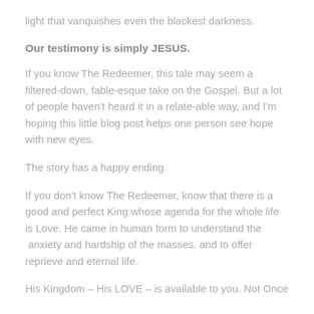light that vanquishes even the blackest darkness.
Our testimony is simply JESUS.
If you know The Redeemer, this tale may seem a filtered-down, fable-esque take on the Gospel. But a lot of people haven't heard it in a relate-able way, and I'm hoping this little blog post helps one person see hope with new eyes.
The story has a happy ending.
If you don't know The Redeemer, know that there is a good and perfect King whose agenda for the whole life is Love. He came in human form to understand the  anxiety and hardship of the masses, and to offer reprieve and eternal life.
His Kingdom – His LOVE – is available to you. Not Once